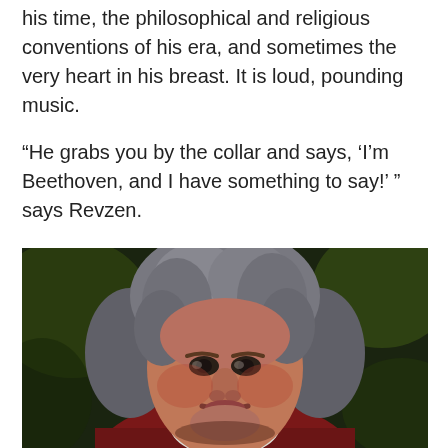his time, the philosophical and religious conventions of his era, and sometimes the very heart in his breast. It is loud, pounding music.
“He grabs you by the collar and says, ‘I’m Beethoven, and I have something to say!’ ” says Revzen.
There are a lot of musical exclamation points in this very publicly aimed music.
[Figure (illustration): Classical oil portrait painting of Ludwig van Beethoven, showing his face and upper body with distinctive wild gray hair, intense brooding expression, white collar and red coat, against a dark foliage background.]